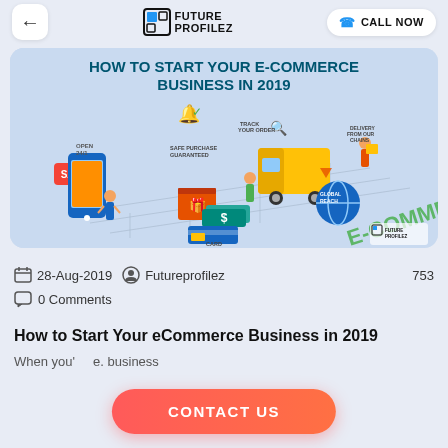← FUTURE PROFILEZ | CALL NOW
[Figure (infographic): E-commerce infographic showing delivery truck, shopping phone, globe, cash, card payment, safe purchase guaranteed, track your order, delivery from our chains labels. Title: HOW TO START YOUR E-COMMERCE BUSINESS IN 2019. FutureProfilez logo bottom right.]
28-Aug-2019   Futureprofilez   753
0 Comments
How to Start Your eCommerce Business in 2019
When you'   e. business
CONTACT US